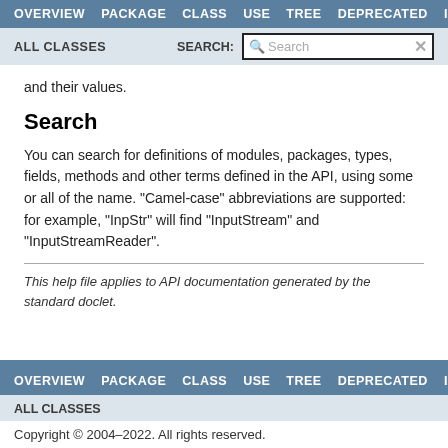OVERVIEW   PACKAGE   CLASS   USE   TREE   DEPRECATED   INDEX
ALL CLASSES   SEARCH: [Search]
and their values.
Search
You can search for definitions of modules, packages, types, fields, methods and other terms defined in the API, using some or all of the name. "Camel-case" abbreviations are supported: for example, "InpStr" will find "InputStream" and "InputStreamReader".
This help file applies to API documentation generated by the standard doclet.
OVERVIEW   PACKAGE   CLASS   USE   TREE   DEPRECATED   INDEX
ALL CLASSES
Copyright © 2004–2022. All rights reserved.